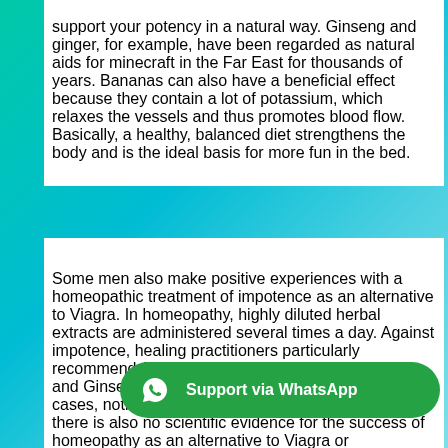support your potency in a natural way. Ginseng and ginger, for example, have been regarded as natural aids for minecraft in the Far East for thousands of years. Bananas can also have a beneficial effect because they contain a lot of potassium, which relaxes the vessels and thus promotes blood flow. Basically, a healthy, balanced diet strengthens the body and is the ideal basis for more fun in the bed.
Some men also make positive experiences with a homeopathic treatment of impotence as an alternative to Viagra. In homeopathy, highly diluted herbal extracts are administered several times a day. Against impotence, healing practitioners particularly recommend Acidum Phosphoricum, Agnus Castus and Ginseng. From a medical point of view, in most cases, nothing is against homeopathic treatment, but there is also no scientific evidence for the success of homeopathy as an alternative to Viagra or comparable potency.
Are external applications useful against impotence?
If you want to support the treatment, you can rely on so-called penis p... the penis before a slight vacuum is created by simple pumping. In
[Figure (other): Green WhatsApp Support button with phone icon and text 'Support via WhatsApp']